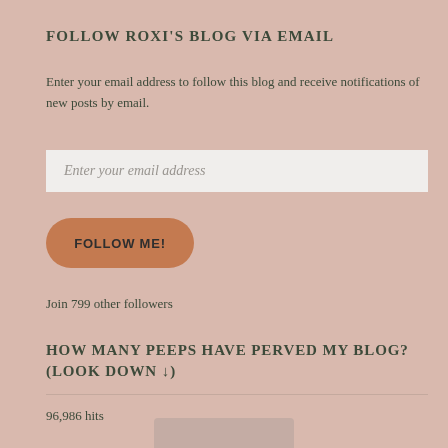FOLLOW ROXI'S BLOG VIA EMAIL
Enter your email address to follow this blog and receive notifications of new posts by email.
Enter your email address
FOLLOW ME!
Join 799 other followers
HOW MANY PEEPS HAVE PERVED MY BLOG? (LOOK DOWN ↓)
96,986 hits
[Figure (photo): Partial photo visible at the bottom of the page]